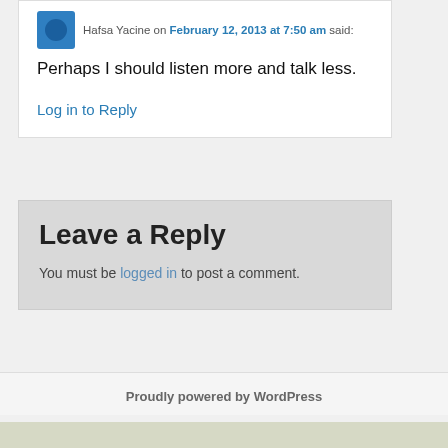Hafsa Yacine on February 12, 2013 at 7:50 am said:
Perhaps I should listen more and talk less.
Log in to Reply
Leave a Reply
You must be logged in to post a comment.
Proudly powered by WordPress